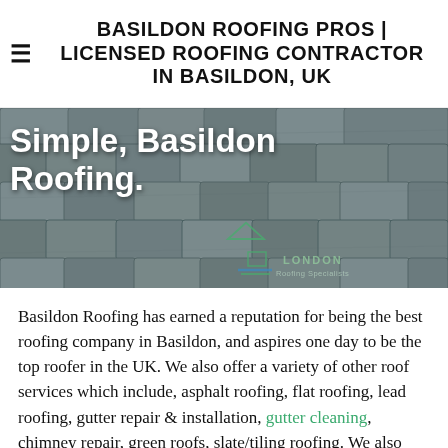BASILDON ROOFING PROS | LICENSED ROOFING CONTRACTOR IN BASILDON, UK
[Figure (photo): A close-up photograph of grey slate roof tiles, serving as a hero banner background. White bold text overlay reads 'Simple, Basildon Roofing.' A watermark logo for London Roofing Specialists is visible in the lower right.]
Simple, Basildon Roofing.
Basildon Roofing has earned a reputation for being the best roofing company in Basildon, and aspires one day to be the top roofer in the UK. We also offer a variety of other roof services which include, asphalt roofing, flat roofing, lead roofing, gutter repair & installation, gutter cleaning, chimney repair, green roofs, slate/tiling roofing. We also provide expert waterproofing services, as well as installation and repair of asphalt